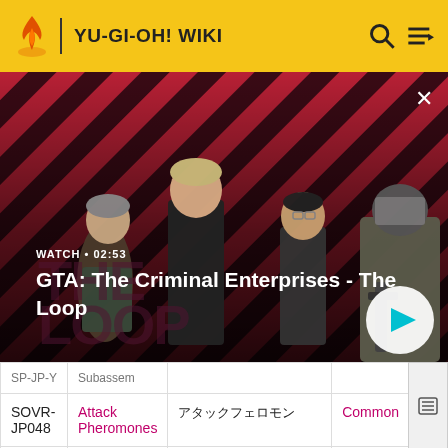YU-GI-OH! WIKI
[Figure (screenshot): Video thumbnail for GTA: The Criminal Enterprises - The Loop showing four characters on a diagonal red and black striped background with a play button overlay. Duration shown as 02:53.]
|  |  |  |  |  |
| --- | --- | --- | --- | --- |
| SOVR-JP048 | Attack Pheromones | アタック・フェロモン | Common |  |
| SOVR-JP049 | Molting Escape | モルティング・イスケープ | Common |  |